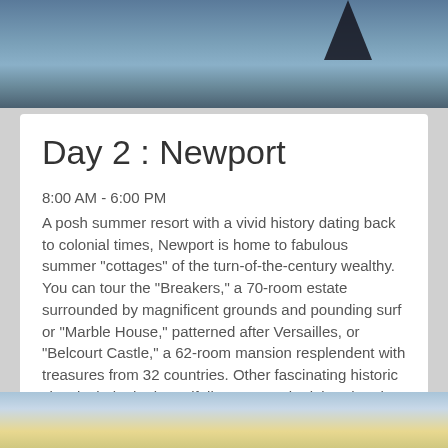[Figure (photo): Top portion of an outdoor/water scene photo, dark silhouette against blue-grey sky/water background]
Day 2 : Newport
8:00 AM - 6:00 PM
A posh summer resort with a vivid history dating back to colonial times, Newport is home to fabulous summer "cottages" of the turn-of-the-century wealthy. You can tour the "Breakers," a 70-room estate surrounded by magnificent grounds and pounding surf or "Marble House," patterned after Versailles, or "Belcourt Castle," a 62-room mansion resplendent with treasures from 32 countries. Other fascinating historic sites include the beautifully preserved Trinity Church, with its Tiffany windows, and the Touro Synagogue National Historic Site, the oldest synagogue in America. Once home to the America's Cup Races, there are, of course, yachts, and a quaint town to wander.
[Figure (photo): Bottom portion of a landscape/sky photo with warm sunset tones, light blue and golden hues]